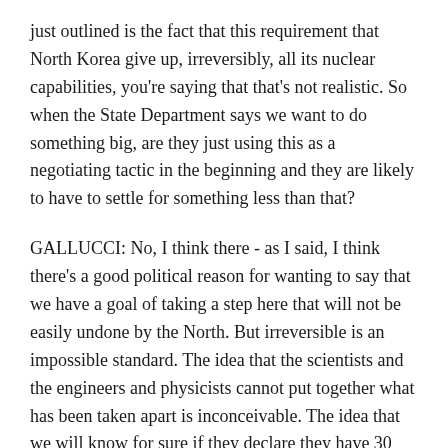just outlined is the fact that this requirement that North Korea give up, irreversibly, all its nuclear capabilities, you're saying that that's not realistic. So when the State Department says we want to do something big, are they just using this as a negotiating tactic in the beginning and they are likely to have to settle for something less than that?
GALLUCCI: No, I think there - as I said, I think there's a good political reason for wanting to say that we have a goal of taking a step here that will not be easily undone by the North. But irreversible is an impossible standard. The idea that the scientists and the engineers and physicists cannot put together what has been taken apart is inconceivable. The idea that we will know for sure if they declare they have 30 nuclear weapons that they don't have 35 and five more hidden someplace in North Korea is unbelievable.